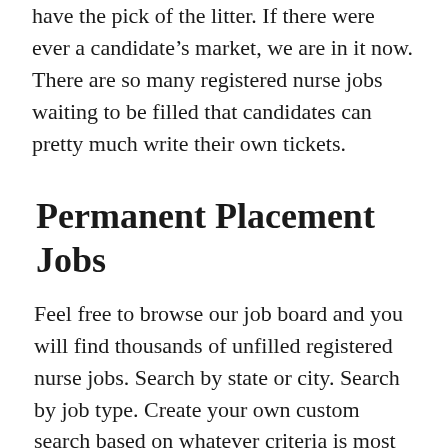have the pick of the litter. If there were ever a candidate's market, we are in it now. There are so many registered nurse jobs waiting to be filled that candidates can pretty much write their own tickets.
Permanent Placement Jobs
Feel free to browse our job board and you will find thousands of unfilled registered nurse jobs. Search by state or city. Search by job type. Create your own custom search based on whatever criteria is most important to you. The point is that there will be no shortage of returns. Click the ‘search’ button and you will have tons of jobs to look through.